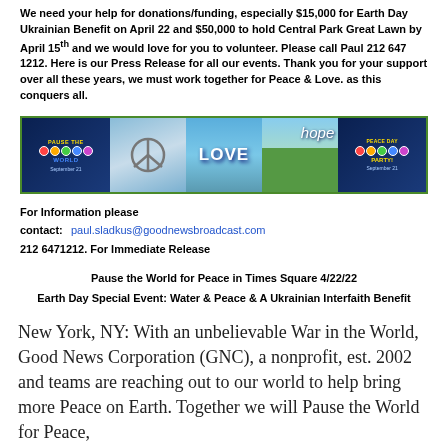We need your help for donations/funding, especially $15,000 for Earth Day Ukrainian Benefit on April 22 and $50,000 to hold Central Park Great Lawn by April 15th and we would love for you to volunteer. Please call Paul 212 647 1212. Here is our Press Release for all our events. Thank you for your support over all these years, we must work together for Peace & Love. as this conquers all.
[Figure (illustration): Horizontal banner with 5 segments: Peace the World colorful logo on dark blue background with September 21; peace symbol on sky background; LOVE text on blue sky; hope text on green landscape; Peace Day Party logo on dark blue with September 21]
For Information please contact: paul.sladkus@goodnewsbroadcast.com
212 6471212. For Immediate Release
Pause the World for Peace in Times Square 4/22/22
Earth Day Special Event: Water & Peace & A Ukrainian Interfaith Benefit
New York, NY: With an unbelievable War in the World, Good News Corporation (GNC), a nonprofit, est. 2002 and teams are reaching out to our world to help bring more Peace on Earth. Together we will Pause the World for Peace,